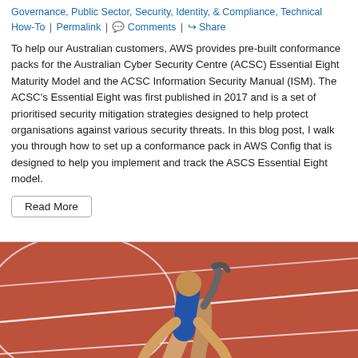Governance, Public Sector, Security, Identity, & Compliance, Technical How-To | Permalink | Comments | Share
To help our Australian customers, AWS provides pre-built conformance packs for the Australian Cyber Security Centre (ACSC) Essential Eight Maturity Model and the ACSC Information Security Manual (ISM). The ACSC's Essential Eight was first published in 2017 and is a set of prioritised security mitigation strategies designed to help protect organisations against various security threats. In this blog post, I walk you through how to set up a conformance pack in AWS Config that is designed to help you implement and track the ASCS Essential Eight model.
[Figure (photo): A runner in starting position on an athletic track, wearing a blue top and black shorts, with a prosthetic blade on one leg, blue running shoes on the other. Close-up low-angle shot showing the torso, legs, and arms on a red clay track with white lane lines.]